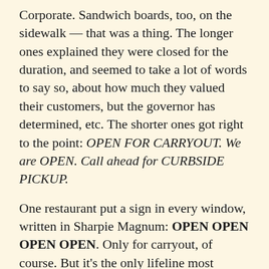Corporate. Sandwich boards, too, on the sidewalk — that was a thing. The longer ones explained they were closed for the duration, and seemed to take a lot of words to say so, about how much they valued their customers, but the governor has determined, etc. The shorter ones got right to the point: OPEN FOR CARRYOUT. We are OPEN. Call ahead for CURBSIDE PICKUP.
One restaurant put a sign in every window, written in Sharpie Magnum: OPEN OPEN OPEN OPEN. Only for carryout, of course. But it's the only lifeline most restaurants have. It's worth making a display of.